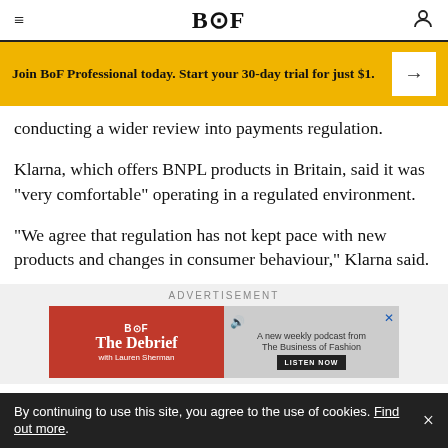BOF
Join BoF Professional today. Start your 30-day trial for just $1.
conducting a wider review into payments regulation.
Klarna, which offers BNPL products in Britain, said it was "very comfortable" operating in a regulated environment.
"We agree that regulation has not kept pace with new products and changes in consumer behaviour," Klarna said.
[Figure (screenshot): Advertisement for BoF 'The Debrief' podcast with Lauren Sherman — red background, listen now button]
By continuing to use this site, you agree to the use of cookies. Find out more.